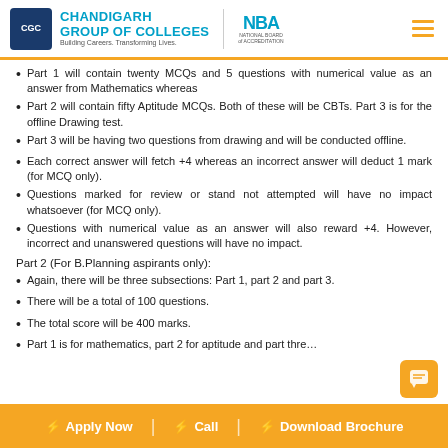Chandigarh Group of Colleges | National Board of Accreditation
Part 1 will contain twenty MCQs and 5 questions with numerical value as an answer from Mathematics whereas
Part 2 will contain fifty Aptitude MCQs. Both of these will be CBTs. Part 3 is for the offline Drawing test.
Part 3 will be having two questions from drawing and will be conducted offline.
Each correct answer will fetch +4 whereas an incorrect answer will deduct 1 mark (for MCQ only).
Questions marked for review or stand not attempted will have no impact whatsoever (for MCQ only).
Questions with numerical value as an answer will also reward +4. However, incorrect and unanswered questions will have no impact.
Part 2 (For B.Planning aspirants only):
Again, there will be three subsections: Part 1, part 2 and part 3.
There will be a total of 100 questions.
The total score will be 400 marks.
Part 1 is for mathematics, part 2 for aptitude and part thre…
Apply Now | Call | Download Brochure